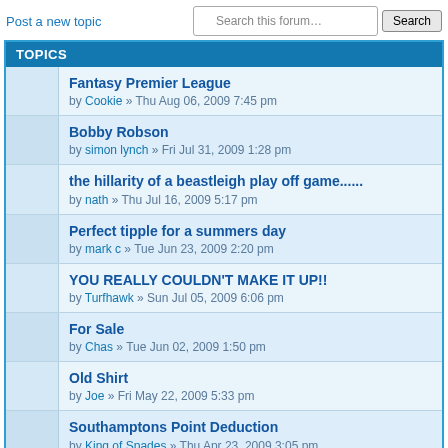Post a new topic
Search this forum… Search
TOPICS
Fantasy Premier League
by Cookie » Thu Aug 06, 2009 7:45 pm
Bobby Robson
by simon lynch » Fri Jul 31, 2009 1:28 pm
the hillarity of a beastleigh play off game......
by nath » Thu Jul 16, 2009 5:17 pm
Perfect tipple for a summers day
by mark c » Tue Jun 23, 2009 2:20 pm
YOU REALLY COULDN'T MAKE IT UP!!
by Turfhawk » Sun Jul 05, 2009 6:06 pm
For Sale
by Chas » Tue Jun 02, 2009 1:50 pm
Old Shirt
by Joe » Fri May 22, 2009 5:33 pm
Southamptons Point Deduction
by King of Spades » Thu Apr 23, 2009 3:05 pm
Clough
by shaun » Thu Mar 26, 2009 9:30 am
DUFFY IN THE COKE ADVERT.